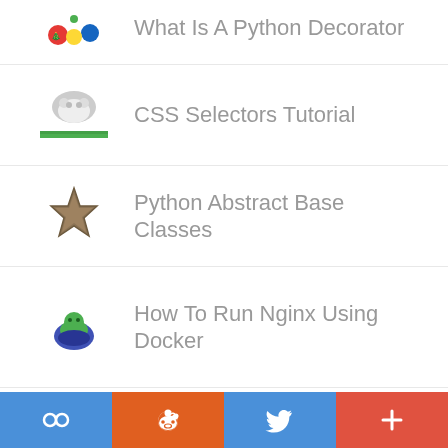What Is A Python Decorator
CSS Selectors Tutorial
Python Abstract Base Classes
How To Run Nginx Using Docker
How To Use Flash Messages In Python Flask
Getting Started With JavaScript Programming
[Figure (screenshot): Mobile app bottom toolbar with link, reddit, twitter, and more buttons]